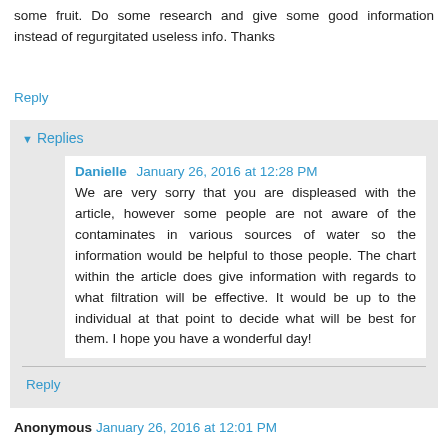some fruit. Do some research and give some good information instead of regurgitated useless info. Thanks
Reply
Replies
Danielle  January 26, 2016 at 12:28 PM
We are very sorry that you are displeased with the article, however some people are not aware of the contaminates in various sources of water so the information would be helpful to those people. The chart within the article does give information with regards to what filtration will be effective. It would be up to the individual at that point to decide what will be best for them. I hope you have a wonderful day!
Reply
Anonymous  January 26, 2016 at 12:01 PM